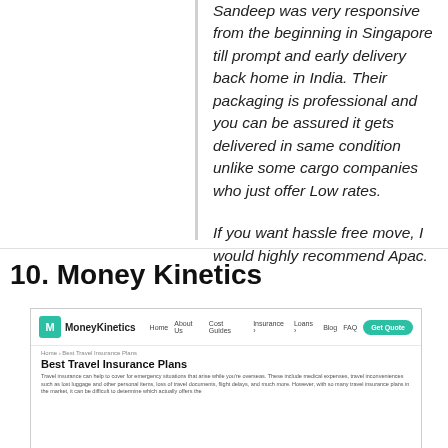Sandeep was very responsive from the beginning in Singapore till prompt and early delivery back home in India. Their packaging is professional and you can be assured it gets delivered in same condition unlike some cargo companies who just offer Low rates.

If you want hassle free move, I would highly recommend Apac.
10. Money Kinetics
[Figure (screenshot): Screenshot of MoneyKinetics website showing navigation bar with logo, menu items (Home, About Us, Cost Guides, Insurance, Loans, Blog, FAQ) and a teal Get Quote button. Below is a breadcrumb showing Home > Best Travel Insurance Plans, with the page title 'Best Travel Insurance Plans' and a short body text about travel insurance.]